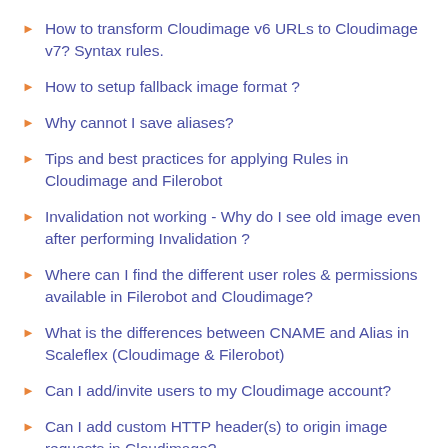How to transform Cloudimage v6 URLs to Cloudimage v7? Syntax rules.
How to setup fallback image format ?
Why cannot I save aliases?
Tips and best practices for applying Rules in Cloudimage and Filerobot
Invalidation not working - Why do I see old image even after performing Invalidation ?
Where can I find the different user roles & permissions available in Filerobot and Cloudimage?
What is the differences between CNAME and Alias in Scaleflex (Cloudimage & Filerobot)
Can I add/invite users to my Cloudimage account?
Can I add custom HTTP header(s) to origin image requests in Cloudimage?